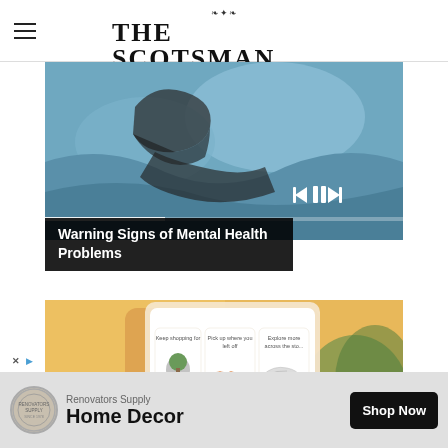THE SCOTSMAN
[Figure (photo): Person lying in bed with blue bedding, media playback controls overlay at bottom, progress bar visible]
Warning Signs of Mental Health Problems
[Figure (photo): Hand holding a smartphone showing a shopping app with cards: Keep shopping for (plant), Pick up where you left off (sunglasses), Explore more across the store (sneakers)]
[Figure (other): Advertisement banner: Renovators Supply Home Decor - Shop Now button]